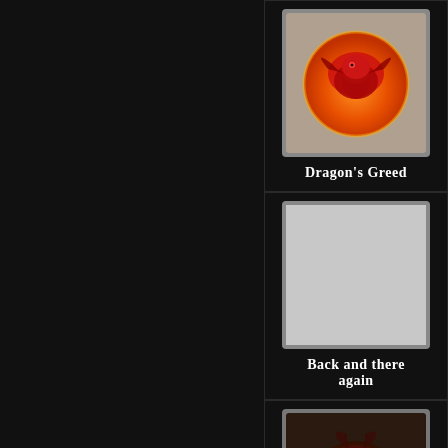[Figure (illustration): Game achievement card with dragon icon showing Dragon's Greed achievement]
Dragon's Greed
[Figure (illustration): Game achievement card with blank/grey placeholder icon showing Back and there again achievement]
Back and there again
[Figure (illustration): Game achievement card showing a dark reddish organ/creature icon for Utterly Destroyed achievement]
Utterly Destroyed
[Figure (illustration): Partial game achievement card showing blue icon at bottom, cut off]